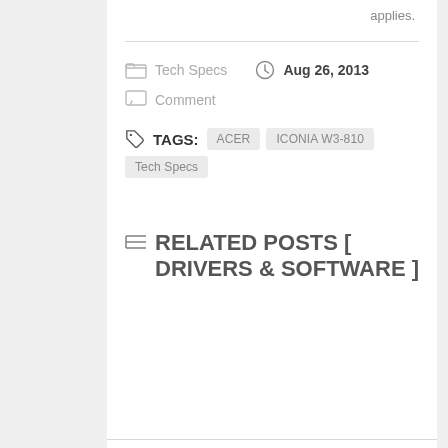applies.
Tech Specs   Aug 26, 2013
Comment
TAGS: ACER  ICONIA W3-810  Tech Specs
RELATED POSTS [ DRIVERS & SOFTWARE ]